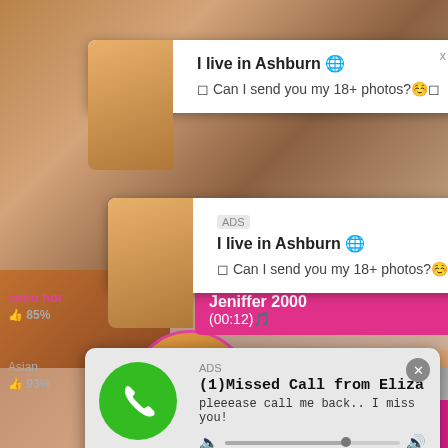[Figure (screenshot): Adult content website screenshot background with multiple video thumbnails]
coco hor
👍 85%
LIVE
Jeniffer 2000
(00:12)🎵
[Figure (screenshot): Popup ad 1: I live in Ashburn 🌐 Can I send you my 18+ photos?☺️]
I live in Ashburn 🌐
◻ Can I send you my 18+ photos?☺️◻
[Figure (screenshot): Popup ad 2: I live in Ashburn 🌐 Can I send you my 18+ photos?☺️ with ADS badge]
I live in Ashburn 🌐
◻ Can I send you my 18+ photos?☺️◻
[Figure (screenshot): Missed call ad popup: ADS label, (1)Missed Call from Eliza, pleeease call me back.. I miss you!, audio player with 0:00 and 3:23, playback controls]
ADS
(1)Missed Call from Eliza
pleeease call me back.. I miss you!
0:00                                                    3:23
Asian
👍 93%